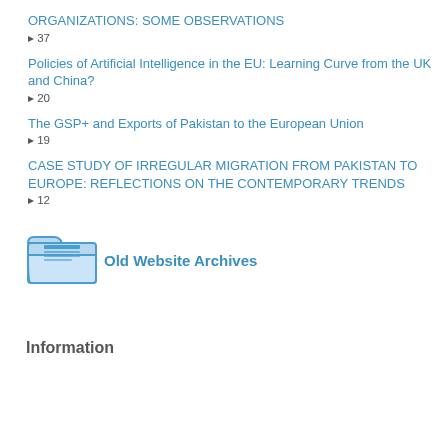ORGANIZATIONS: SOME OBSERVATIONS
▸ 37
Policies of Artificial Intelligence in the EU: Learning Curve from the UK and China?
▸ 20
The GSP+ and Exports of Pakistan to the European Union
▸ 19
CASE STUDY OF IRREGULAR MIGRATION FROM PAKISTAN TO EUROPE: REFLECTIONS ON THE CONTEMPORARY TRENDS
▸ 12
[Figure (illustration): Folder icon representing Old Website Archives]
Old Website Archives
Information